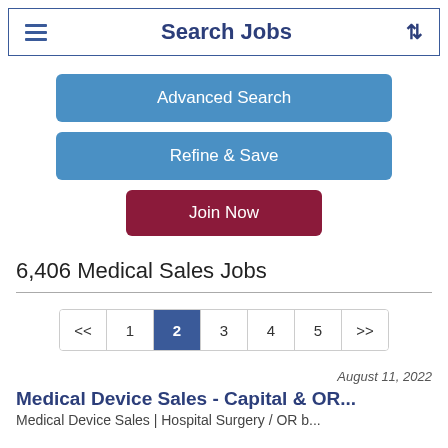Search Jobs
Advanced Search
Refine & Save
Join Now
6,406 Medical Sales Jobs
<< 1 2 3 4 5 >>
August 11, 2022
Medical Device Sales - Capital & OR...
Medical Device Sales | Hospital Surgery / OR b...